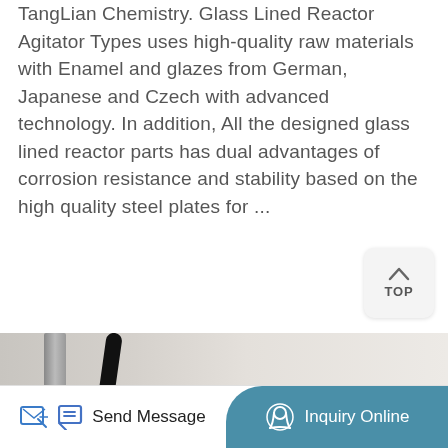TangLian Chemistry. Glass Lined Reactor Agitator Types uses high-quality raw materials with Enamel and glazes from German, Japanese and Czech with advanced technology. In addition, All the designed glass lined reactor parts has dual advantages of corrosion resistance and stability based on the high quality steel plates for ...
[Figure (other): Button labeled 'More Details' with orange rounded rectangle background]
[Figure (other): TOP navigation button - small rounded box with up-arrow caret and 'TOP' text]
[Figure (photo): Photo of glass lined reactor agitator equipment showing a black control panel with two digital LED displays labeled TEMPERATURE (°C) and ROTARY SPEED, alongside mechanical components]
[Figure (other): Footer bar with two action buttons: 'Send Message' (left, white background with edit icon) and 'Inquiry Online' (right, teal/blue background with headset icon)]